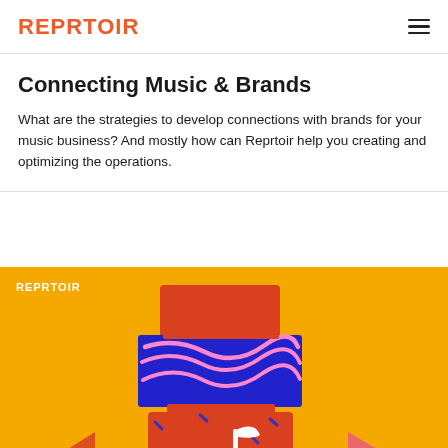REPRTOIR
Connecting Music & Brands
What are the strategies to develop connections with brands for your music business? And mostly how can Reprtoir help you creating and optimizing the operations.
[Figure (illustration): An illustrated promotional image on a yellow/orange background showing a stylized music player device with play buttons on the sides, a music note icon, colorful abstract shapes, and the REPRTOIR logo in white at the top left. A pink scroll-up circle button is visible at the lower left.]